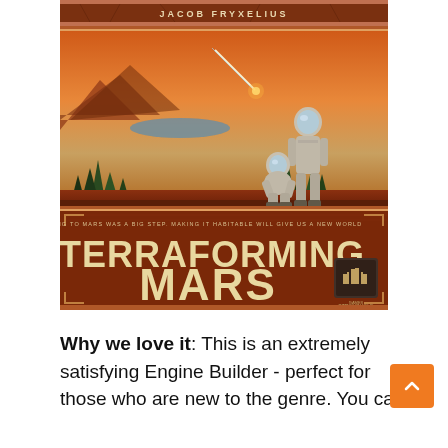[Figure (illustration): Box cover art for the board game 'Terraforming Mars' by Jacob Fryxelius. Top band shows author name 'JACOB FRYXELIUS' on a reddish Martian surface texture. Middle section shows two astronauts in suits standing on Mars with terraformed landscape including trees, water and a meteor streaking across an orange sky. Bottom band shows the game title 'TERRAFORMING MARS' in large tan/cream block letters on a red-orange background with the tagline 'COMING TO MARS WAS A BIG STEP. MAKING IT HABITABLE WILL GIVE US A NEW WORLD' and a publisher logo.]
Why we love it: This is an extremely satisfying Engine Builder - perfect for those who are new to the genre. You can